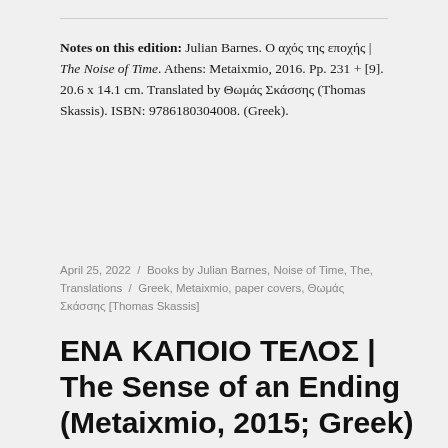Notes on this edition: Julian Barnes. Ο αχός της εποχής | The Noise of Time. Athens: Metaixmio, 2016. Pp. 231 + [9]. 20.6 x 14.1 cm. Translated by Θωμάς Σκάσσης (Thomas Skassis). ISBN: 9786180304008. (Greek).
April 25, 2022 / Books by Julian Barnes, Noise of Time, The, Translations / Greek, Metaixmio, paper covers, Θωμάς Σκάσσης [Thomas Skassis]
ΕΝΑ ΚΑΠΟΙΟ ΤΕΛΟΣ | The Sense of an Ending (Metaixmio, 2015; Greek)